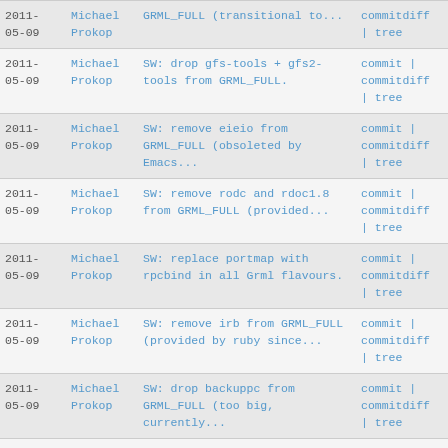| Date | Author | Message | Links |
| --- | --- | --- | --- |
| 2011-
05-09 | Michael
Prokop | GRML_FULL (transitional to... | commitdiff
| tree |
| 2011-
05-09 | Michael
Prokop | SW: drop gfs-tools + gfs2-
tools from GRML_FULL. | commit |
commitdiff
| tree |
| 2011-
05-09 | Michael
Prokop | SW: remove eieio from
GRML_FULL (obsoleted by
Emacs... | commit |
commitdiff
| tree |
| 2011-
05-09 | Michael
Prokop | SW: remove rodc and rdoc1.8
from GRML_FULL (provided... | commit |
commitdiff
| tree |
| 2011-
05-09 | Michael
Prokop | SW: replace portmap with
rpcbind in all Grml flavours. | commit |
commitdiff
| tree |
| 2011-
05-09 | Michael
Prokop | SW: remove irb from GRML_FULL
(provided by ruby since... | commit |
commitdiff
| tree |
| 2011-
05-09 | Michael
Prokop | SW: drop backuppc from
GRML_FULL (too big,
currently... | commit |
commitdiff
| tree |
| 2011- | Michael | SW: remove ekeyd from | commit | |